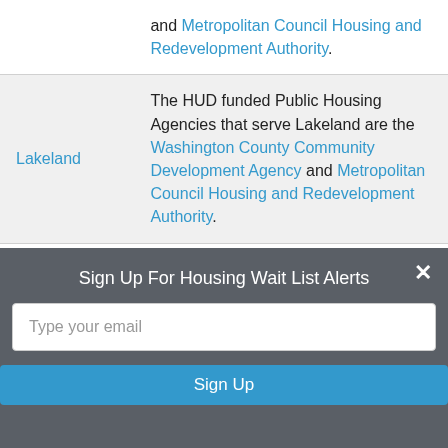| City | Description |
| --- | --- |
|  | and Metropolitan Council Housing and Redevelopment Authority. |
| Lakeland | The HUD funded Public Housing Agencies that serve Lakeland are the Washington County Community Development Agency and Metropolitan Council Housing and Redevelopment Authority. |
| Lakeland Shores | The HUD funded Public Housing Agencies that serve Lakeland Shores are the Washington County ... |
Sign Up For Housing Wait List Alerts
Type your email
Sign Up